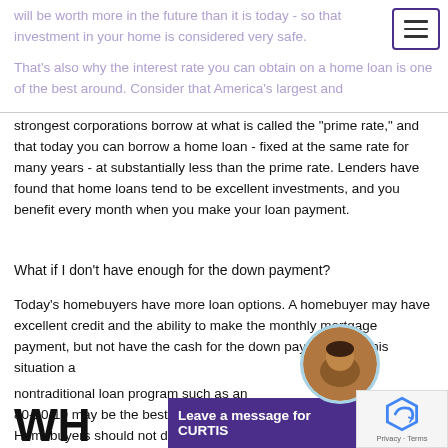will be worth more in the future than it is today - so that investment in your home is considered very safe.
That's also why the interest rate you can obtain on a home loan is one of the best around. Consider that America's largest and strongest corporations borrow at what is called the "prime rate," and that today you can borrow a home loan - fixed at the same rate for many years - at substantially less than the prime rate. Lenders have found that home loans tend to be excellent investments, and you benefit every month when you make your loan payment.
What if I don't have enough for the down payment?
Today's homebuyers have more loan options. A homebuyer may have excellent credit and the ability to make the monthly mortgage payment, but not have the cash for the down payment. For this situation a
nontraditional loan program such as an 80-10-10 may be the best loan. Homebuyers should not despair and assume that a home is out of reach. There are many loan options available for many different financial situations.
WH
Leave a message for CURTIS